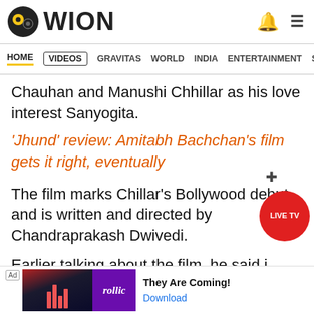WION
HOME | VIDEOS | GRAVITAS | WORLD | INDIA | ENTERTAINMENT | SPORTS
Chauhan and Manushi Chhillar as his love interest Sanyogita.
'Jhund' review: Amitabh Bachchan's film gets it right, eventually
The film marks Chillar's Bollywood debut and is written and directed by Chandraprakash Dwivedi.
Earlier talking about the film, he said i staten on medie ai
[Figure (screenshot): Ad banner for Follic app with text 'They Are Coming!' and Download button]
[Figure (other): LIVE TV red circular button overlay]